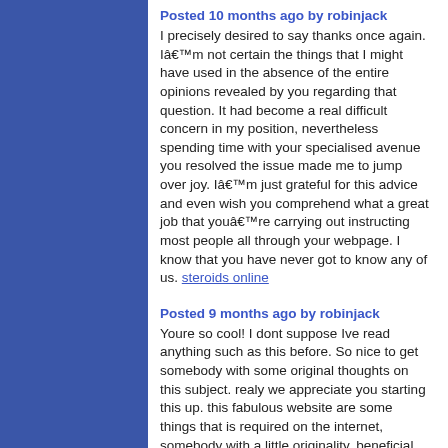Posted 10 months ago by robinjack
I precisely desired to say thanks once again. Iâ€™m not certain the things that I might have used in the absence of the entire opinions revealed by you regarding that question. It had become a real difficult concern in my position, nevertheless spending time with your specialised avenue you resolved the issue made me to jump over joy. Iâ€™m just grateful for this advice and even wish you comprehend what a great job that youâ€™re carrying out instructing most people all through your webpage. I know that you have never got to know any of us. steroids online
Posted 9 months ago by robinjack
Youre so cool! I dont suppose Ive read anything such as this before. So nice to get somebody with some original thoughts on this subject. realy we appreciate you starting this up. this fabulous website are some things that is required on the internet, somebody with a little originality. beneficial work for bringing a new challenge on the world wide web! link alternatif klik88slots